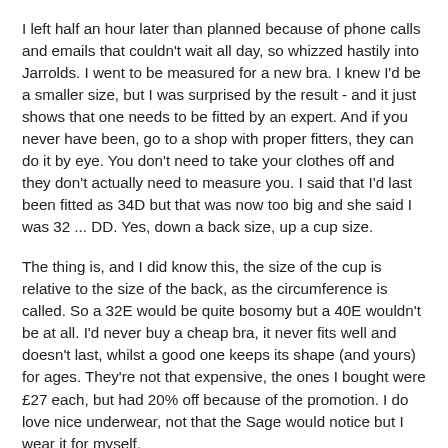I left half an hour later than planned because of phone calls and emails that couldn't wait all day, so whizzed hastily into Jarrolds.  I went to be measured for a new bra.  I knew I'd be a smaller size, but I was surprised by the result - and it just shows that one needs to be fitted by an expert.  And if you never have been, go to a shop with proper fitters, they can do it by eye.  You don't need to take your clothes off and they don't actually need to measure you.  I said that I'd last been fitted as 34D but that was now too big and she said I was 32 ... DD.  Yes, down a back size, up a cup size.
The thing is, and I did know this, the size of the cup is relative to the size of the back, as the circumference is called.  So a 32E would be quite bosomy but a 40E wouldn't be at all.  I'd never buy a cheap bra, it never fits well and doesn't last, whilst a good one keeps its shape (and yours) for ages.  They're not that expensive, the ones I bought were £27 each, but had 20% off because of the promotion.  I do love nice underwear, not that the Sage would notice but I wear it for myself.
A soon after that I have a short piece from a girl but I...